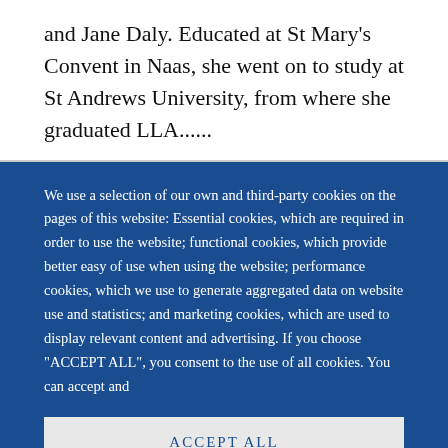and Jane Daly. Educated at St Mary's Convent in Naas, she went on to study at St Andrews University, from where she graduated LLA......
We use a selection of our own and third-party cookies on the pages of this website: Essential cookies, which are required in order to use the website; functional cookies, which provide better easy of use when using the website; performance cookies, which we use to generate aggregated data on website use and statistics; and marketing cookies, which are used to display relevant content and advertising. If you choose "ACCEPT ALL", you consent to the use of all cookies. You can accept and
ACCEPT ALL